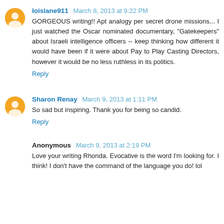loislane911 March 8, 2013 at 9:22 PM
GORGEOUS writing!! Apt analogy per secret drone missions... I just watched the Oscar nominated documentary, "Gatekeepers" about Israeli intelligence officers -- keep thinking how different it would have been if it were about Pay to Play Casting Directors, however it would be no less ruthless in its politics.
Reply
Sharon Renay March 9, 2013 at 1:11 PM
So sad but inspiring. Thank you for being so candid.
Reply
Anonymous March 9, 2013 at 2:19 PM
Love your writing Rhonda. Evocative is the word I'm looking for. I think! I don't have the command of the language you do! lol